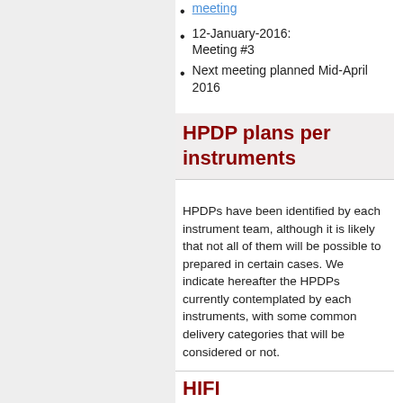meeting
12-January-2016: Meeting #3
Next meeting planned Mid-April 2016
HPDP plans per instruments
HPDPs have been identified by each instrument team, although it is likely that not all of them will be possible to prepared in certain cases. We indicate hereafter the HPDPs currently contemplated by each instruments, with some common delivery categories that will be considered or not.
HIFI